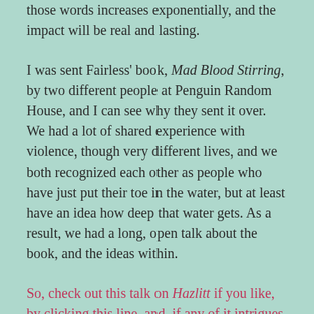those words increases exponentially, and the impact will be real and lasting.
I was sent Fairless' book, Mad Blood Stirring, by two different people at Penguin Random House, and I can see why they sent it over. We had a lot of shared experience with violence, though very different lives, and we both recognized each other as people who have just put their toe in the water, but at least have an idea how deep that water gets. As a result, we had a long, open talk about the book, and the ideas within.
So, check out this talk on Hazlitt if you like, by clicking this line, and, if any of it intrigues, you should pick up this book and dig in. I know there are a lot of “maleness” books out there these days, but I also know that we need the good ones to stem the tide of dipshit